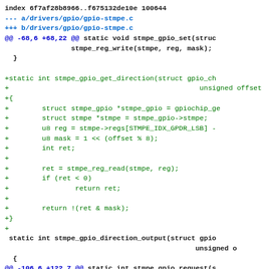[Figure (screenshot): Git diff output showing a code patch for drivers/gpio/gpio-stmpe.c. The diff adds a new function stmpe_gpio_get_direction and modifies surrounding code. Lines prefixed with + are additions in green, context lines in dark text, and hunk headers in cyan.]